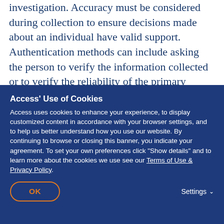investigation. Accuracy must be considered during collection to ensure decisions made about an individual have valid support. Authentication methods can include asking the person to verify the information collected or to verify the reliability of the primary source. Ensuring accurate collection is an ethical obligation. Failure to do so can result in an individual not ... performance ... otherwise be entitled ... No...
Access' Use of Cookies
Access uses cookies to enhance your experience, to display customized content in accordance with your browser settings, and to help us better understand how you use our website. By continuing to browse or closing this banner, you indicate your agreement. To set your own preferences click "Show details" and to learn more about the cookies we use see our Terms of Use & Privacy Policy.